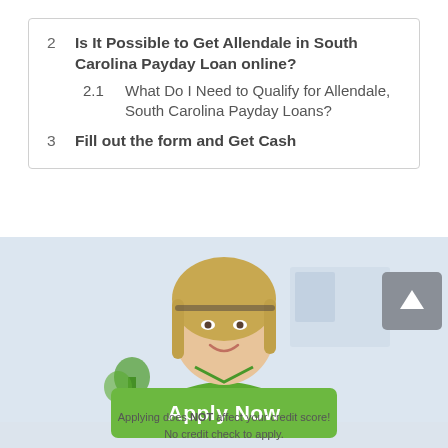2  Is It Possible to Get Allendale in South Carolina Payday Loan online?
2.1  What Do I Need to Qualify for Allendale, South Carolina Payday Loans?
3  Fill out the form and Get Cash
[Figure (photo): A smiling blonde woman in a green shirt, sitting at a desk, suggesting a financial services context. Overlaid with a green 'Apply Now' button and credit score disclaimer text.]
Apply Now
Applying does NOT affect your credit score!
No credit check to apply.